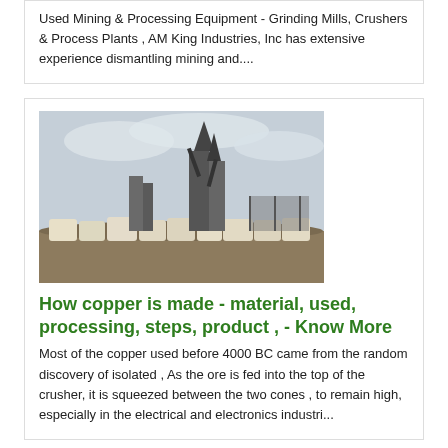Used Mining & Processing Equipment - Grinding Mills, Crushers & Process Plants , AM King Industries, Inc has extensive experience dismantling mining and....
[Figure (photo): Industrial mining equipment with large silos/cyclones and bulk bags on the ground at an outdoor mine site.]
How copper is made - material, used, processing, steps, product , - Know More
Most of the copper used before 4000 BC came from the random discovery of isolated , As the ore is fed into the top of the crusher, it is squeezed between the two cones , to remain high, especially in the electrical and electronics industri...
[Figure (photo): Close-up photo of a rough rock or mineral surface, grayish-brown texture.]